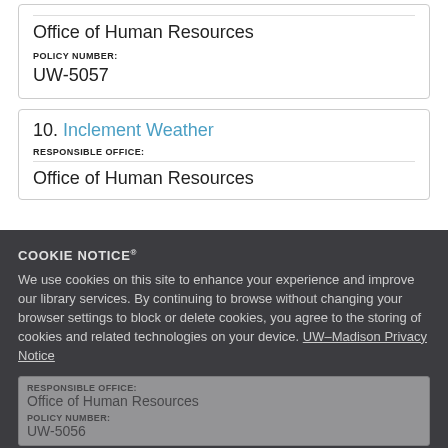Office of Human Resources
POLICY NUMBER:
UW-5057
10. Inclement Weather
RESPONSIBLE OFFICE:
Office of Human Resources
COOKIE NOTICE
We use cookies on this site to enhance your experience and improve our library services. By continuing to browse without changing your browser settings to block or delete cookies, you agree to the storing of cookies and related technologies on your device. UW–Madison Privacy Notice
GOT IT!
Office of Human Resources
POLICY NUMBER:
UW-5056